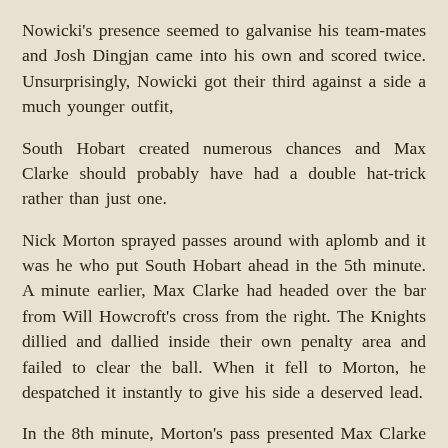Nowicki's presence seemed to galvanise his team-mates and Josh Dingjan came into his own and scored twice. Unsurprisingly, Nowicki got their third against a side a much younger outfit,
South Hobart created numerous chances and Max Clarke should probably have had a double hat-trick rather than just one.
Nick Morton sprayed passes around with aplomb and it was he who put South Hobart ahead in the 5th minute. A minute earlier, Max Clarke had headed over the bar from Will Howcroft's cross from the right. The Knights dillied and dallied inside their own penalty area and failed to clear the ball. When it fell to Morton, he despatched it instantly to give his side a deserved lead.
In the 8th minute, Morton's pass presented Max Clarke with another chance, but the youngster shot wide. A minute later, the same player headed wide from Josh